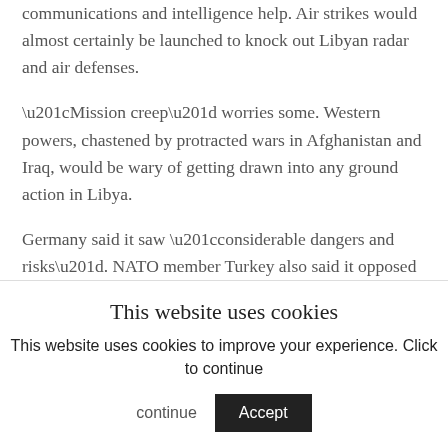communications and intelligence help. Air strikes would almost certainly be launched to knock out Libyan radar and air defenses.
“Mission creep” worries some. Western powers, chastened by protracted wars in Afghanistan and Iraq, would be wary of getting drawn into any ground action in Libya.
Germany said it saw “considerable dangers and risks”. NATO member Turkey also said it opposed the operation.
Gaddafi would be guilty of war crimes if he carries out a threat to attack civilians in Benghazi, the
This website uses cookies
This website uses cookies to improve your experience. Click to continue
Accept